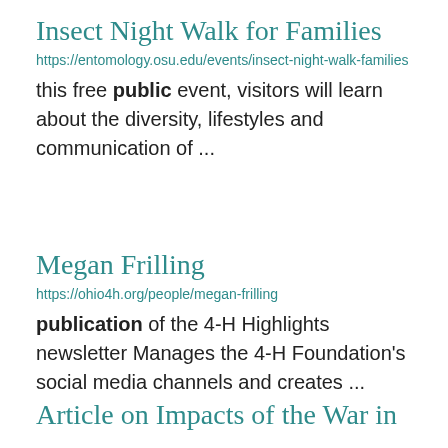Insect Night Walk for Families
https://entomology.osu.edu/events/insect-night-walk-families
this free public event, visitors will learn about the diversity, lifestyles and communication of ...
Megan Frilling
https://ohio4h.org/people/megan-frilling
publication of the 4-H Highlights newsletter Manages the 4-H Foundation's social media channels and creates ...
Article on Impacts of the War in